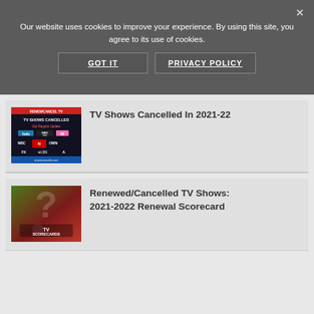Our website uses cookies to improve your experience. By using this site, you agree to its use of cookies.
GOT IT
PRIVACY POLICY
[Figure (screenshot): TV Shows Cancelled thumbnail with network logos (Hulu, HBO Max, MTV, NBC, Netflix, FX, CBS, OWN, A&E)]
TV Shows Cancelled In 2021-22
[Figure (screenshot): TV Scorecards thumbnail - green and red background with question mark and 'TV SCORECARDS' text]
Renewed/Cancelled TV Shows: 2021-2022 Renewal Scorecard